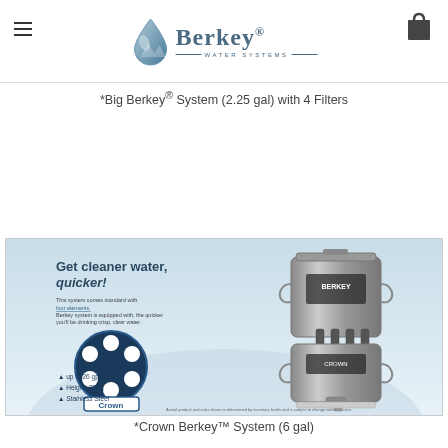[Figure (logo): Berkey Water Systems logo with water drop icon and brand name]
*Big Berkey® System (2.25 gal) with 4 Filters
[Figure (photo): Advertisement image for Crown Berkey system showing stainless steel water filter with text 'Get cleaner water, quicker!' and product specs including up to 26 gph, Height 30 in., Stainless Steel]
*Crown Berkey™ System (6 gal)